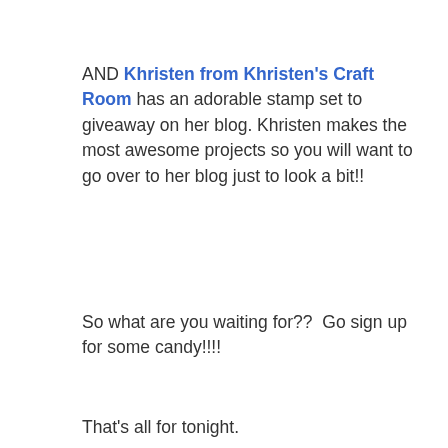AND Khristen from Khristen's Craft Room has an adorable stamp set to giveaway on her blog. Khristen makes the most awesome projects so you will want to go over to her blog just to look a bit!!
So what are you waiting for??  Go sign up for some candy!!!!
That's all for tonight.
Stacy
Stacy H-W at 7:35 PM    7 comments: